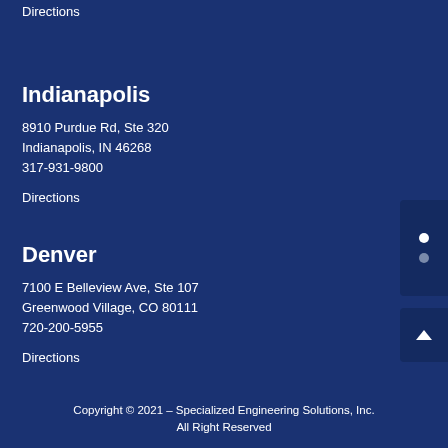Directions
Indianapolis
8910 Purdue Rd, Ste 320
Indianapolis, IN 46268
317-931-9800
Directions
Denver
7100 E Belleview Ave, Ste 107
Greenwood Village, CO 80111
720-200-5955
Directions
Copyright © 2021 – Specialized Engineering Solutions, Inc.
All Right Reserved